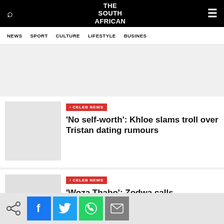THE SOUTH AFRICAN
NEWS  SPORT  CULTURE  LIFESTYLE  BUSINESS
CELEB NEWS
‘No self-worth’: Khloe slams troll over Tristan dating rumours
CELEB NEWS
‘Woza Thabo’: Zodwa calls